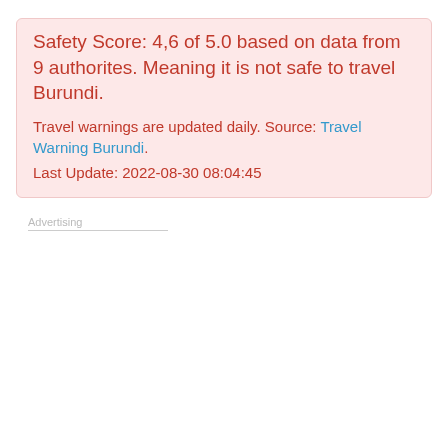Safety Score: 4,6 of 5.0 based on data from 9 authorites. Meaning it is not safe to travel Burundi.
Travel warnings are updated daily. Source: Travel Warning Burundi.
Last Update: 2022-08-30 08:04:45
Advertising